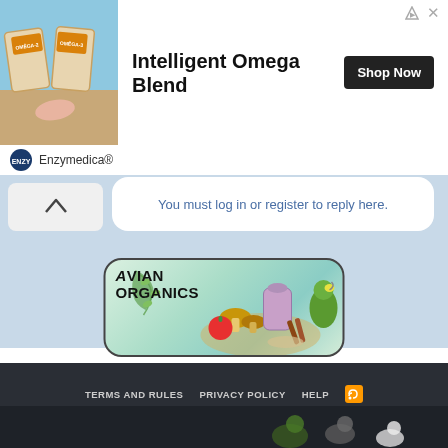[Figure (illustration): Advertisement banner for Enzymedica Intelligent Omega Blend supplement with product bags image on left, large bold title text, and Shop Now button]
Enzymedica®
You must log in or register to reply here.
[Figure (illustration): Avian Organics advertisement banner with logo text, food products, and parrot illustration]
< Poicephalus Place
TERMS AND RULES  PRIVACY POLICY  HELP